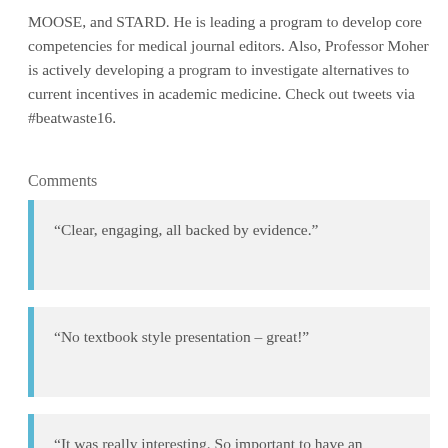MOOSE, and STARD. He is leading a program to develop core competencies for medical journal editors. Also, Professor Moher is actively developing a program to investigate alternatives to current incentives in academic medicine. Check out tweets via #beatwaste16.
Comments
“Clear, engaging, all backed by evidence.”
“No textbook style presentation – great!”
“It was really interesting. So important to have an awareness about publishing (aka journalology).”